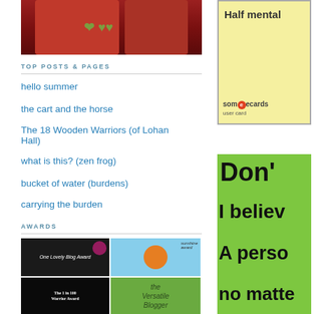[Figure (photo): Two people wearing red shirts, partially visible at top of left column]
TOP POSTS & PAGES
hello summer
the cart and the horse
The 18 Wooden Warriors (of Lohan Hall)
what is this? (zen frog)
bucket of water (burdens)
carrying the burden
AWARDS
[Figure (photo): 2x2 grid of blog award images: One Lovely Blog Award, Sunshine Award, The 1 in 100 Warrior Award, The Versatile Blogger]
[Figure (photo): someecards user card top right - yellow background with text 'Half mental']
[Figure (photo): Green motivational image with text: Don't, I believ, A perso, no matte]